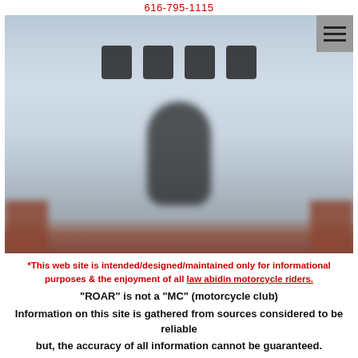616-795-1115
[Figure (photo): Blurred photo showing the word ROAR in large block letters on a white/light blue surface, with a dark blurred figure/silhouette below. Brown/skin-toned blurred shapes visible at lower corners. A gray hamburger menu icon overlaid in top-right corner.]
*This web site is intended/designed/maintained only for informational purposes & the enjoyment of all law abidin motorcycle riders.
"ROAR" is not a "MC" (motorcycle club)
Information on this site is gathered from sources considered to be reliable
but, the accuracy of all information cannot be guaranteed.